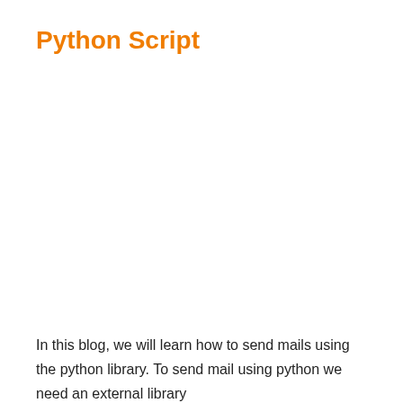Python Script
In this blog, we will learn how to send mails using the python library. To send mail using python we need an external library